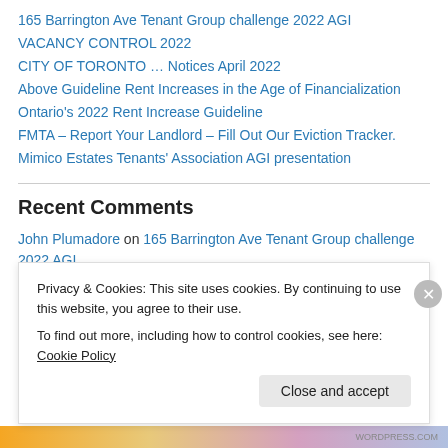165 Barrington Ave Tenant Group challenge 2022 AGI
VACANCY CONTROL 2022
CITY OF TORONTO … Notices April 2022
Above Guideline Rent Increases in the Age of Financialization
Ontario's 2022 Rent Increase Guideline
FMTA – Report Your Landlord – Fill Out Our Eviction Tracker.
Mimico Estates Tenants' Association AGI presentation
Recent Comments
John Plumadore on 165 Barrington Ave Tenant Group challenge 2022 AGI
Tee Momme on Ontario's 2022 Rent Increase Guideline
Privacy & Cookies: This site uses cookies. By continuing to use this website, you agree to their use. To find out more, including how to control cookies, see here: Cookie Policy